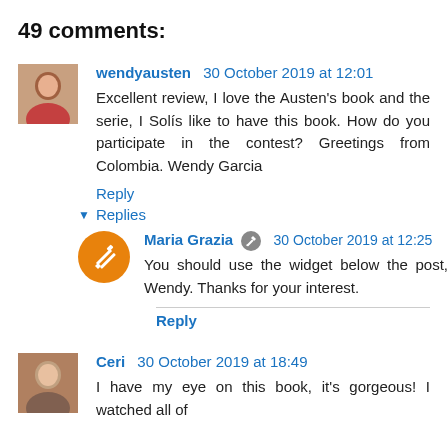49 comments:
wendyausten  30 October 2019 at 12:01
Excellent review, I love the Austen's book and the serie, I Solís like to have this book. How do you participate in the contest? Greetings from Colombia. Wendy Garcia
Reply
▼ Replies
Maria Grazia  30 October 2019 at 12:25
You should use the widget below the post, Wendy. Thanks for your interest.
Reply
Ceri  30 October 2019 at 18:49
I have my eye on this book, it's gorgeous! I watched all of